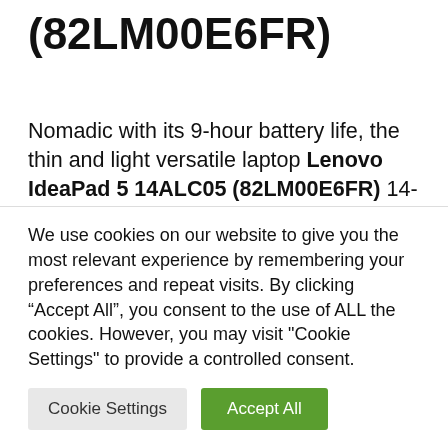(82LM00E6FR)
Nomadic with its 9-hour battery life, the thin and light versatile laptop Lenovo IdeaPad 5 14ALC05 (82LM00E6FR) 14-inch Full HD anti-reflective touch screen benefits from enhanced responsiveness thanks to its fast 512GB SSD storage and connectivity with Wi-Fi ax and USB-C. Equipped with a good amount of 16 GB RAM and a high
We use cookies on our website to give you the most relevant experience by remembering your preferences and repeat visits. By clicking “Accept All”, you consent to the use of ALL the cookies. However, you may visit "Cookie Settings" to provide a controlled consent.